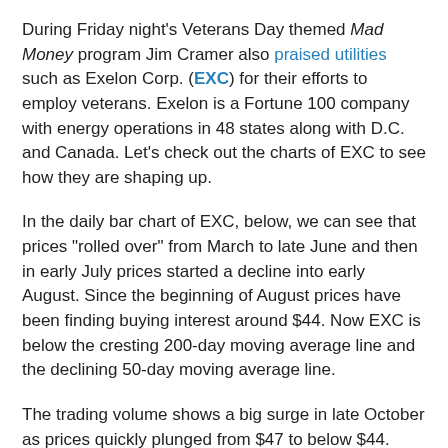During Friday night's Veterans Day themed Mad Money program Jim Cramer also praised utilities such as Exelon Corp. (EXC) for their efforts to employ veterans. Exelon is a Fortune 100 company with energy operations in 48 states along with D.C. and Canada. Let's check out the charts of EXC to see how they are shaping up.
In the daily bar chart of EXC, below, we can see that prices "rolled over" from March to late June and then in early July prices started a decline into early August. Since the beginning of August prices have been finding buying interest around $44. Now EXC is below the cresting 200-day moving average line and the declining 50-day moving average line.
The trading volume shows a big surge in late October as prices quickly plunged from $47 to below $44. Prices rebounded from below $44 (again) and are back down near this support zone. In spite of EXC's up and down swings the On-Balance-Volume (OBV) indicator has been...